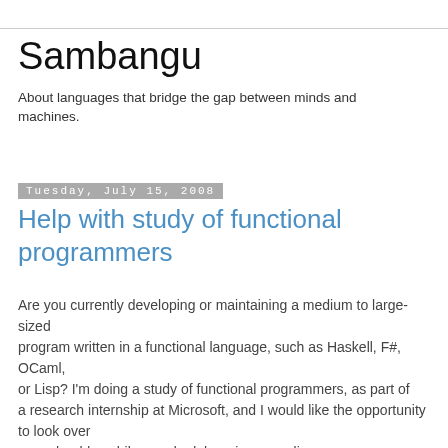Sambangu
About languages that bridge the gap between minds and machines.
Tuesday, July 15, 2008
Help with study of functional programmers
Are you currently developing or maintaining a medium to large-sized program written in a functional language, such as Haskell, F#, OCaml, or Lisp? I'm doing a study of functional programmers, as part of a research internship at Microsoft, and I would like the opportunity to look over your shoulder while you do debugging or coding on your project.